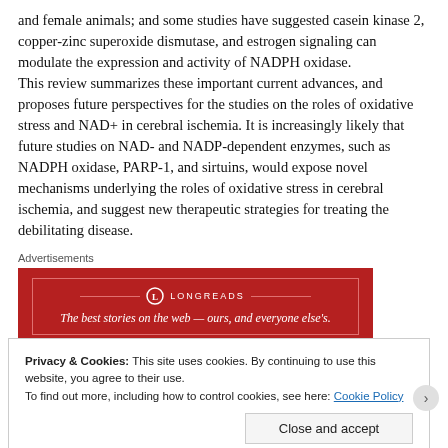and female animals; and some studies have suggested casein kinase 2, copper-zinc superoxide dismutase, and estrogen signaling can modulate the expression and activity of NADPH oxidase.
This review summarizes these important current advances, and proposes future perspectives for the studies on the roles of oxidative stress and NAD+ in cerebral ischemia. It is increasingly likely that future studies on NAD- and NADP-dependent enzymes, such as NADPH oxidase, PARP-1, and sirtuins, would expose novel mechanisms underlying the roles of oxidative stress in cerebral ischemia, and suggest new therapeutic strategies for treating the debilitating disease.
[Figure (other): Longreads advertisement banner with red background. Shows Longreads logo and tagline: The best stories on the web — ours, and everyone else's.]
Privacy & Cookies: This site uses cookies. By continuing to use this website, you agree to their use.
To find out more, including how to control cookies, see here: Cookie Policy